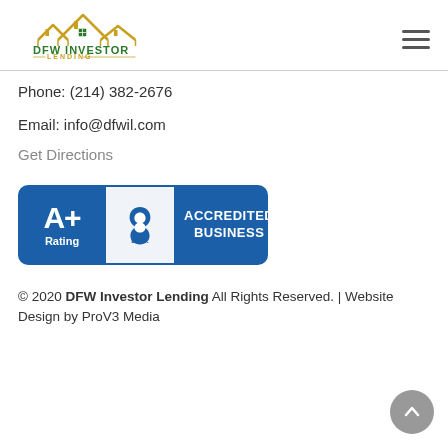[Figure (logo): DFW Investor Lending logo with house rooflines in gold and green, company name in green and gold text]
Phone: (214) 382-2676
Email: info@dfwil.com
Get Directions
[Figure (logo): BBB Accredited Business badge with A+ Rating in blue]
© 2020 DFW Investor Lending All Rights Reserved. | Website Design by ProV3 Media